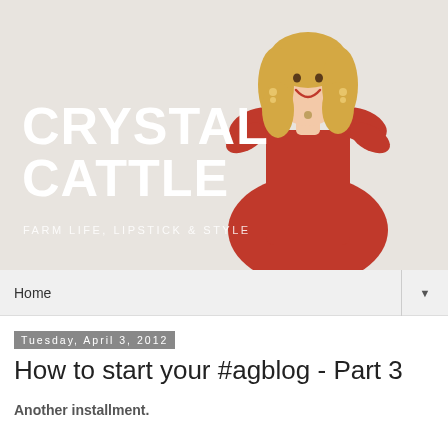[Figure (photo): Hero banner for Crystal Cattle blog featuring a smiling blonde woman in a red ruffled dress against a beige/cream background, with large white bold text reading CRYSTAL CATTLE and subtitle FARM LIFE, LIPSTICK & STYLE]
Home ▼
Tuesday, April 3, 2012
How to start your #agblog - Part 3
Another installment.